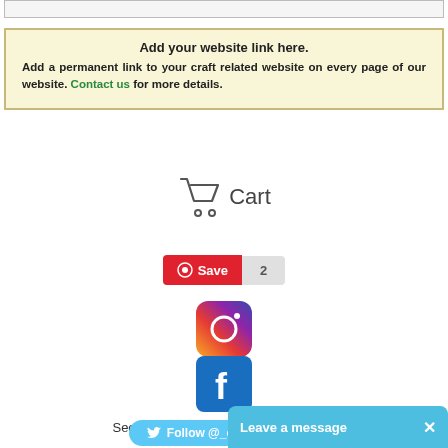[Figure (screenshot): Top partial decorative bar element]
Add your website link here. Add a permanent link to your craft related website on every page of our website. Contact us for more details.
[Figure (illustration): Shopping cart icon with 'Cart' text]
[Figure (screenshot): Pinterest Save button with count 2]
[Figure (logo): Instagram logo icon]
[Figure (logo): Facebook logo icon]
See What We Are Doing on Facebook!
[Figure (screenshot): Twitter Follow @_craftsupplies button]
[Figure (screenshot): Leave a message overlay chat button with X close]